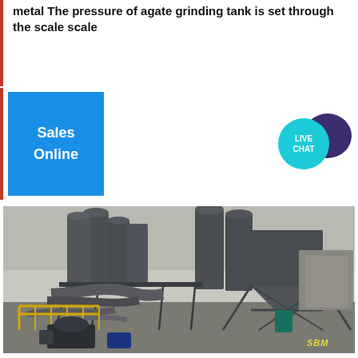metal The pressure of agate grinding tank is set through the scale scale
[Figure (infographic): Sales Online button (blue rectangle) and Live Chat bubble icon on the right]
[Figure (photo): Industrial grinding/milling plant with large grey cylindrical silos, dust collectors, pipes, and yellow railings. SBM watermark in bottom right.]